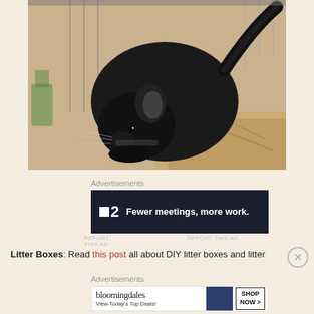[Figure (photo): A black chinchilla inside a wire cage, leaning forward with ears visible, surrounded by shredded paper bedding. Watermark reads 'LY Chinchillas' in bottom right.]
Advertisements
[Figure (infographic): Dark navy advertisement banner for a product with logo showing a grid/table icon and the number 2. Text reads: 'Fewer meetings, more work.']
REPORT THIS AD
Litter Boxes: Read this post all about DIY litter boxes and litter
Advertisements
[Figure (infographic): Bloomingdales advertisement showing the logo text 'bloomingdales', subtitle 'View Today's Top Deals!', image of woman in wide-brim hat, and a button reading 'SHOP NOW >']